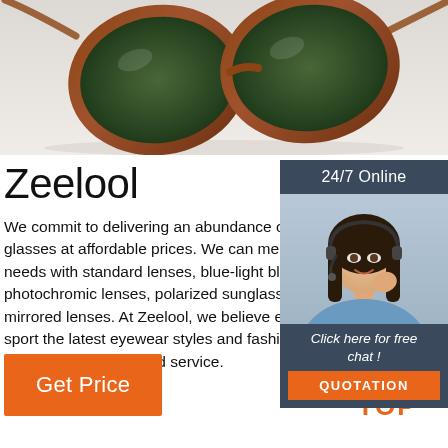[Figure (photo): Sunglasses with tortoiseshell frames and green lenses on light grey background, viewed from above at an angle]
Zeelool
We commit to delivering an abundance of glasses at affordable prices. We can mee needs with standard lenses, blue-light blo photochromic lenses, polarized sunglass mirrored lenses. At Zeelool, we believe ev sport the latest eyewear styles and fashio value with unsurpassed service.
[Figure (photo): Customer service panel with '24/7 Online' header, photo of smiling woman with headset, 'Click here for free chat!' text, and orange QUOTATION button]
Get Price
[Figure (illustration): Orange TOP icon with upward arrow dots and TOP text]